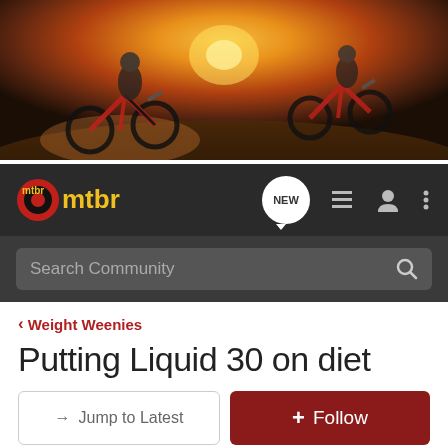[Figure (photo): Hero banner showing mountain bikers riding on a dirt trail at sunset, dramatic orange and golden sky in the background]
[Figure (logo): mtbr logo - circular red and black logo with yellow 'mtbr' text, navigation bar with NEW chat bubble, list icon, user icon, and more menu]
Search Community
< Weight Weenies
Putting Liquid 30 on diet
→ Jump to Latest
+ Follow
REVIEWS   DEALS   BIKESHOPS   TRAILS